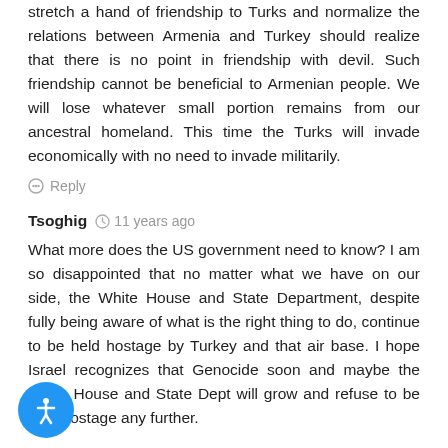stretch a hand of friendship to Turks and normalize the relations between Armenia and Turkey should realize that there is no point in friendship with devil. Such friendship cannot be beneficial to Armenian people. We will lose whatever small portion remains from our ancestral homeland. This time the Turks will invade economically with no need to invade militarily.
Reply
Tsoghig  11 years ago
What more does the US government need to know? I am so disappointed that no matter what we have on our side, the White House and State Department, despite fully being aware of what is the right thing to do, continue to be held hostage by Turkey and that air base. I hope Israel recognizes that Genocide soon and maybe the White House and State Dept will grow and refuse to be held hostage any further.